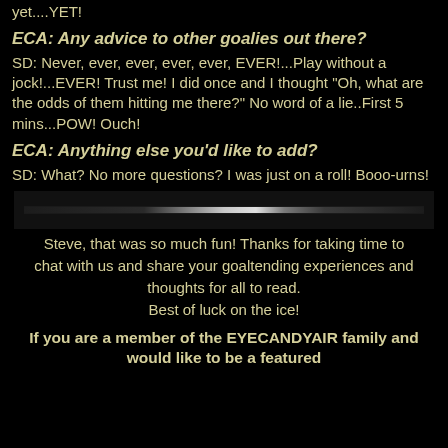yet....YET!
ECA: Any advice to other goalies out there?
SD: Never, ever, ever, ever, ever, EVER!...Play without a jock!...EVER! Trust me! I did once and I thought "Oh, what are the odds of them hitting me there?" No word of a lie..First 5 mins...POW! Ouch!
ECA: Anything else you'd like to add?
SD: What? No more questions? I was just on a roll! Booo-urns!
[Figure (photo): Horizontal image of what appears to be ice or a reflective surface with a bright highlight/glare in the center]
Steve, that was so much fun! Thanks for taking time to chat with us and share your goaltending experiences and thoughts for all to read.
Best of luck on the ice!
If you are a member of the EYECANDYAIR family and would like to be a featured